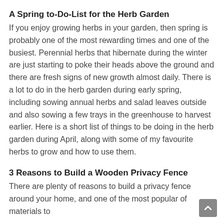A Spring to-Do-List for the Herb Garden
If you enjoy growing herbs in your garden, then spring is probably one of the most rewarding times and one of the busiest. Perennial herbs that hibernate during the winter are just starting to poke their heads above the ground and there are fresh signs of new growth almost daily. There is a lot to do in the herb garden during early spring, including sowing annual herbs and salad leaves outside and also sowing a few trays in the greenhouse to harvest earlier. Here is a short list of things to be doing in the herb garden during April, along with some of my favourite herbs to grow and how to use them.
3 Reasons to Build a Wooden Privacy Fence
There are plenty of reasons to build a privacy fence around your home, and one of the most popular of materials to